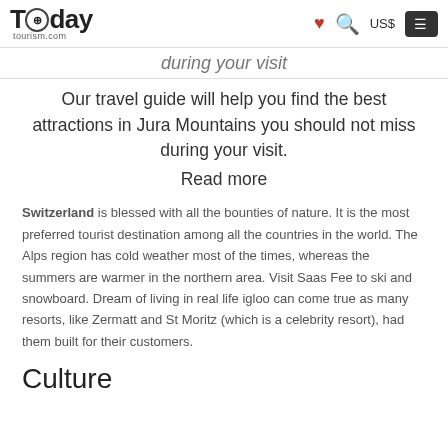Today Tourism.com — US$
during your visit
Our travel guide will help you find the best attractions in Jura Mountains you should not miss during your visit.
Read more
Switzerland is blessed with all the bounties of nature. It is the most preferred tourist destination among all the countries in the world. The Alps region has cold weather most of the times, whereas the summers are warmer in the northern area. Visit Saas Fee to ski and snowboard. Dream of living in real life igloo can come true as many resorts, like Zermatt and St Moritz (which is a celebrity resort), had them built for their customers.
Culture